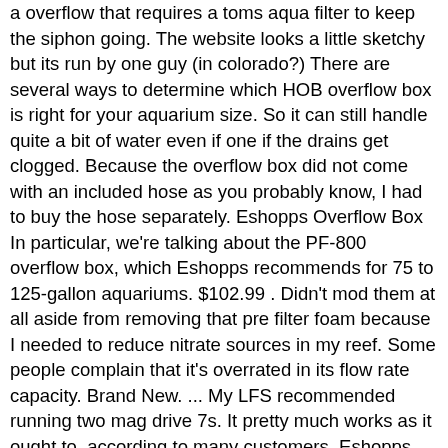a overflow that requires a toms aqua filter to keep the siphon going. The website looks a little sketchy but its run by one guy (in colorado?) There are several ways to determine which HOB overflow box is right for your aquarium size. So it can still handle quite a bit of water even if one if the drains get clogged. Because the overflow box did not come with an included hose as you probably know, I had to buy the hose separately. Eshopps Overflow Box In particular, we're talking about the PF-800 overflow box, which Eshopps recommends for 75 to 125-gallon aquariums. $102.99 . Didn't mod them at all aside from removing that pre filter foam because I needed to reduce nitrate sources in my reef. Some people complain that it's overrated in its flow rate capacity. Brand New. ... My LFS recommended running two mag drive 7s. It pretty much works as it ought to, according to many customers. Eshopps . https://www.bulkreefsupply.com/pf-800-hob-overflow-eshopps.html You can hear the brand being discussed on many reefing forums. Basically drain, then through 3 pieces of glass for micro bubble catching, to a 7 inch fuge/sump, then through 2 more bubble traps, then return. Tap Water.